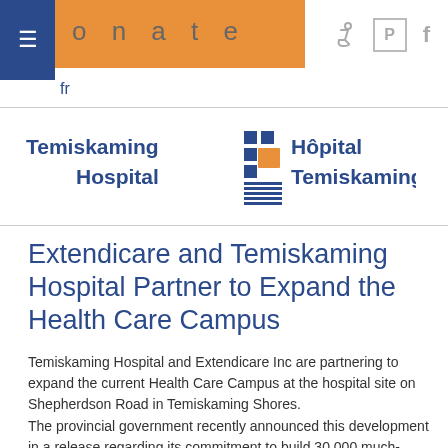onate  fr
[Figure (logo): Temiskaming Hospital / Hôpital Temiskaming bilingual logo with blue squares and orange sunrise icon]
Extendicare and Temiskaming Hospital Partner to Expand the Health Care Campus
Temiskaming Hospital and Extendicare Inc are partnering to expand the current Health Care Campus at the hospital site on Shepherdson Road in Temiskaming Shores.
The provincial government recently announced this development in a release regarding its commitment to build 30,000 much-needed